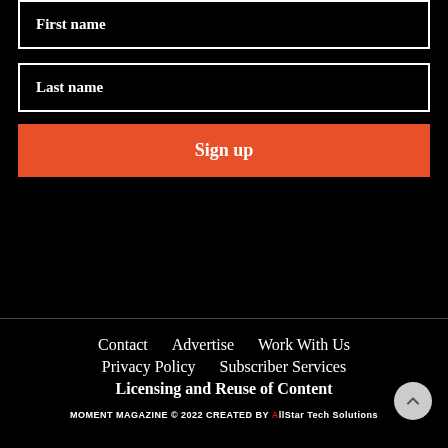First name
Last name
Sign up
Contact
Advertise
Work With Us
Privacy Policy
Subscriber Services
Licensing and Reuse of Content
MOMENT MAGAZINE © 2022 CREATED BY AllStar Tech Solutions